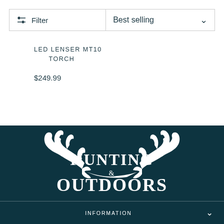[Figure (screenshot): Filter button with sliders icon and Best selling dropdown sort selector in toolbar]
LED LENSER MT10 TORCH
$249.99
[Figure (logo): Hunting & Outdoors logo with antler illustration on dark teal background]
INFORMATION